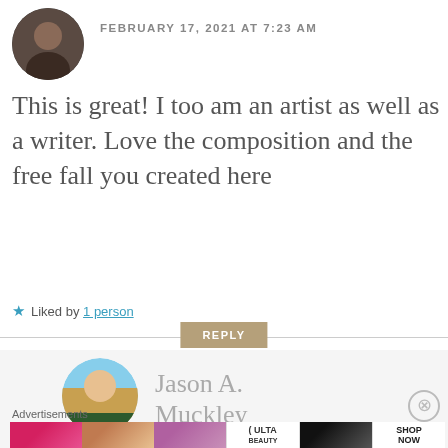[Figure (photo): Circular avatar photo of a person with dark background]
FEBRUARY 17, 2021 AT 7:23 AM
This is great! I too am an artist as well as a writer. Love the composition and the free fall you created here
★ Liked by 1 person
REPLY
[Figure (photo): Circular avatar photo of Jason A. Muckley outdoors]
Jason A. Muckley
Advertisements
[Figure (photo): Ulta Beauty advertisement banner with makeup imagery and SHOP NOW call to action]